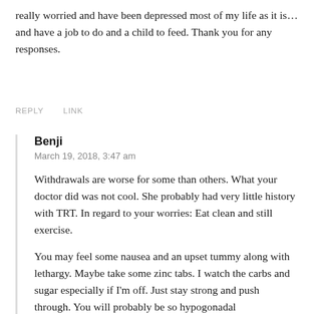really worried and have been depressed most of my life as it is… and have a job to do and a child to feed. Thank you for any responses.
REPLY
LINK
Benji
March 19, 2018, 3:47 am
Withdrawals are worse for some than others. What your doctor did was not cool. She probably had very little history with TRT. In regard to your worries: Eat clean and still exercise.
You may feel some nausea and an upset tummy along with lethargy. Maybe take some zinc tabs. I watch the carbs and sugar especially if I'm off. Just stay strong and push through. You will probably be so hypogonadal